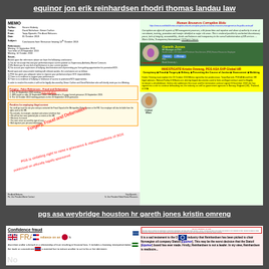equinor jon erik reinhardsen rhodri thomas landau law
[Figure (screenshot): Composite screenshot showing a PGS MEMO document on the left with yellow boxes highlighting 'Forgery - False References - Fraud and Defamation', and red stamp overlays reading 'Forgery, Fraud and Defamation', 'PGS is violating right to raise a grievance & representations of SOX', alongside a right panel showing Human Resources Corruption Risks text, a LinkedIn-style profile for Gareth Jones (HR Manager at PGS) labeled 'Criminal Roshead', and a yellow section headed 'INVESTIGATE Kristin Omreng, PGS ASA SVP Global HR' with bullet points: Conspiracy, Fraud, Forgery, Bribery, Perverting the Course of Justice, Harassment, Mobbing.]
pgs asa weybridge houston hr gareth jones kristin omreng
[Figure (screenshot): Composite screenshot showing a 'Confidence fraud' definition on the left with UK, French, Japanese and other flags interspersed in the text, and on the right a yellow highlighted passage stating 'It is a sad testament to the O&G industry that Reinhardsen has been picked to chair Norwegian oil company Statoil (Equinor). This may be the worst decision that the Statoil (Equinor) board has ever made. Firstly, Reinhardsen is not a leader. In my view, Reinhardsen is mediocre...' with a UK Limitation Act 1980 reference box at top.]